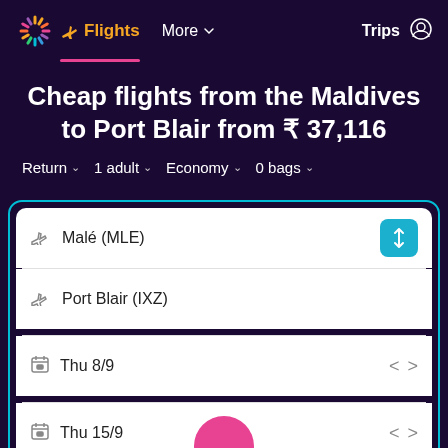Flights  More  Trips
Cheap flights from the Maldives to Port Blair from ₹ 37,116
Return  1 adult  Economy  0 bags
Malé (MLE)
Port Blair (IXZ)
Thu 8/9
Thu 15/9